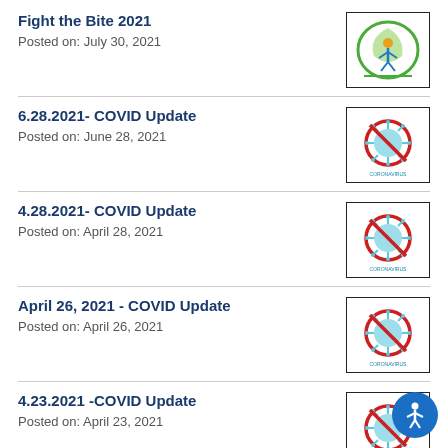Fight the Bite 2021
Posted on: July 30, 2021
[Figure (logo): Green circular logo with a human figure and leaf motif]
6.28.2021- COVID Update
Posted on: June 28, 2021
[Figure (illustration): Red no-entry circle over a coronavirus illustration with text CORONAVIRUS]
4.28.2021- COVID Update
Posted on: April 28, 2021
[Figure (illustration): Red no-entry circle over a coronavirus illustration with text CORONAVIRUS]
April 26, 2021 - COVID Update
Posted on: April 26, 2021
[Figure (illustration): Red no-entry circle over a coronavirus illustration with text CORONAVIRUS]
4.23.2021 -COVID Update
Posted on: April 23, 2021
[Figure (illustration): Red no-entry circle over a coronavirus illustration with text CORONAVIRUS]
Environmental Incident at Ridgecrest Farm -